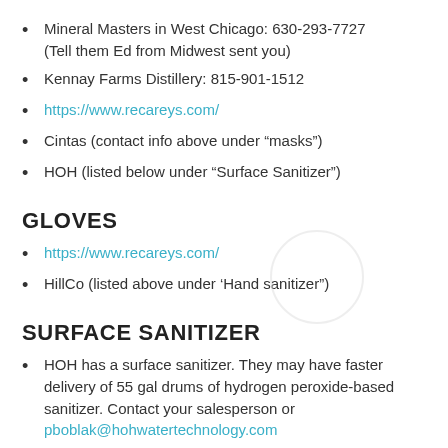Mineral Masters in West Chicago: 630-293-7727 (Tell them Ed from Midwest sent you)
Kennay Farms Distillery: 815-901-1512
https://www.recareys.com/
Cintas (contact info above under “masks”)
HOH (listed below under “Surface Sanitizer”)
GLOVES
https://www.recareys.com/
HillCo (listed above under ‘Hand sanitizer”)
SURFACE SANITIZER
HOH has a surface sanitizer. They may have faster delivery of 55 gal drums of hydrogen peroxide-based sanitizer. Contact your salesperson or pboblak@hohwatertechnology.com